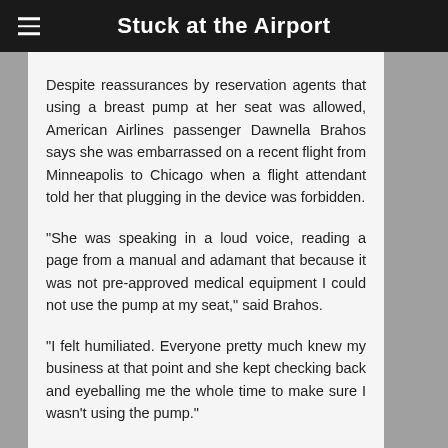Stuck at the Airport
Despite reassurances by reservation agents that using a breast pump at her seat was allowed, American Airlines passenger Dawnella Brahos says she was embarrassed on a recent flight from Minneapolis to Chicago when a flight attendant told her that plugging in the device was forbidden.
"She was speaking in a loud voice, reading a page from a manual and adamant that because it was not pre-approved medical equipment I could not use the pump at my seat," said Brahos.
"I felt humiliated. Everyone pretty much knew my business at that point and she kept checking back and eyeballing me the whole time to make sure I wasn't using the pump."